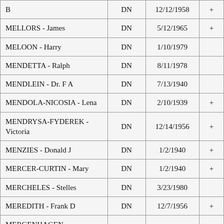| Name | Type | Date |  |
| --- | --- | --- | --- |
| B | DN | 12/12/1958 | + |
| MELLORS - James | DN | 5/12/1965 | + |
| MELOON - Harry | DN | 1/10/1979 |  |
| MENDETTA - Ralph | DN | 8/11/1978 |  |
| MENDLEIN - Dr. F A | DN | 7/13/1940 |  |
| MENDOLA-NICOSIA - Lena | DN | 2/10/1939 | + |
| MENDRYSA-FYDEREK - Victoria | DN | 12/14/1956 | + |
| MENZIES - Donald J | DN | 1/2/1940 | + |
| MERCER-CURTIN - Mary | DN | 1/2/1940 | + |
| MERCHELES - Stelles | DN | 3/23/1980 |  |
| MEREDITH - Frank D | DN | 12/7/1956 | + |
| MERGENHAGEN- |  |  |  |